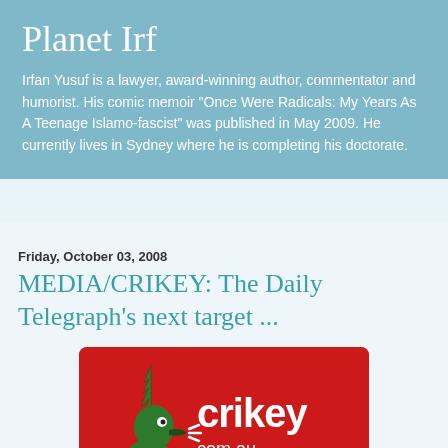Planet Irf
Irfan Yusuf is a lawyer, award-winning author, commentator and humorist. His comic memoir "Once Were Radicals: My Years As A Teenage Islamo-fascist" was published in May 2009. He currently lives in Sydney where he is completing his doctorate.
Friday, October 03, 2008
MEDIA/CRIKEY: The Daily Telegraph's next target ...
[Figure (logo): Crikey.com.au logo — green cartoon bird character on left, white 'crikey .com.au' text on red background]